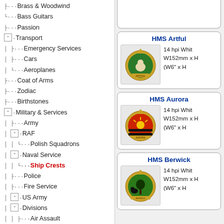···Brass & Woodwind
···Bass Guitars
···Passion
⊟·Transport
···Emergency Services
···Cars
···Aeroplanes
···Coat of Arms
···Zodiac
···Birthstones
⊟·Military & Services
···Army
⊟·RAF
···Polish Squadrons
⊟·Naval Service
···Ship Crests (selected)
···Police
···Fire Service
⊟·US Army
⊟·Divisions
···Air Assault
···Airborne
HMS Artful
14 hpi White
W152mm x H
(W6" x H
[Figure (illustration): HMS Artful ship crest badge - circular badge with green background showing a white/cream monkey, surrounded by gold rope border with crown on top, text ARTFUL on banner]
HMS Aurora
14 hpi White
W152mm x H
(W6" x H
[Figure (illustration): HMS Aurora ship crest badge - circular badge with red/black striped background showing a golden sun, surrounded by gold rope border with crown on top, text AURORA on banner]
HMS Berwick
14 hpi White
W152mm x H
(W6" x H
[Figure (illustration): HMS Berwick ship crest badge - circular badge with green background showing a black bear/animal near a tree, surrounded by gold rope border with crown on top, text BERWICK on banner]